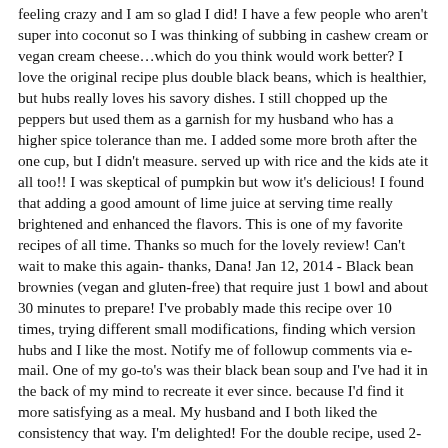feeling crazy and I am so glad I did! I have a few people who aren't super into coconut so I was thinking of subbing in cashew cream or vegan cream cheese…which do you think would work better? I love the original recipe plus double black beans, which is healthier, but hubs really loves his savory dishes. I still chopped up the peppers but used them as a garnish for my husband who has a higher spice tolerance than me. I added some more broth after the one cup, but I didn't measure. served up with rice and the kids ate it all too!! I was skeptical of pumpkin but wow it's delicious! I found that adding a good amount of lime juice at serving time really brightened and enhanced the flavors. This is one of my favorite recipes of all time. Thanks so much for the lovely review! Can't wait to make this again- thanks, Dana! Jan 12, 2014 - Black bean brownies (vegan and gluten-free) that require just 1 bowl and about 30 minutes to prepare! I've probably made this recipe over 10 times, trying different small modifications, finding which version hubs and I like the most. Notify me of followup comments via e-mail. One of my go-to's was their black bean soup and I've had it in the back of my mind to recreate it ever since. because I'd find it more satisfying as a meal. My husband and I both liked the consistency that way. I'm delighted! For the double recipe, used 2-15 oz. Absolutely perfect recipe. I don't know which I loved more: the ease of making or the taste. I frequently visit Minimalist Baker for inspiration in my meal planning – so many wonderful vegan recipes. Did I just stumble on a unicorn of a recipe here? Taste test results it passed the discriminating taste...